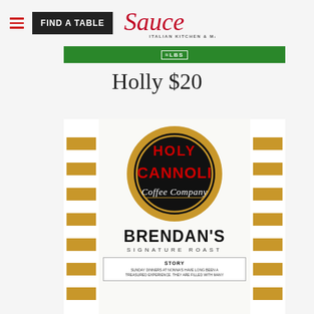[Figure (screenshot): Sauce Italian Kitchen & Market website header with hamburger menu, FIND A TABLE button, and Sauce logo in red cursive script]
[Figure (photo): Holy Cannoli Coffee Company product bag — Brendan's Signature Roast, white bag with gold horizontal stripes on sides, circular black and gold logo with red text, BRENDAN'S in large black block letters, SIGNATURE ROAST below, and a STORY panel at the bottom]
Holly $20